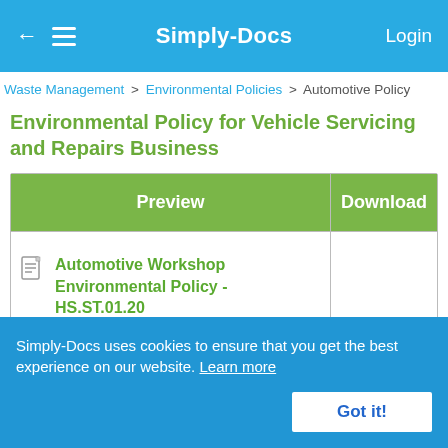Simply-Docs | Login
Waste Management > Environmental Policies > Automotive Policy
Environmental Policy for Vehicle Servicing and Repairs Business
| Preview | Download |
| --- | --- |
| Automotive Workshop Environmental Policy - HS.ST.01.20 |  |
Simply-Docs uses cookies to ensure that you get the best experience on our website. Learn more